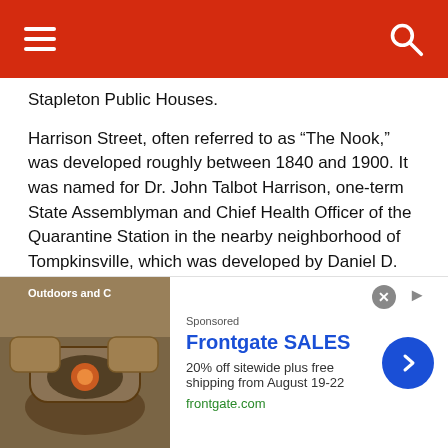Stapleton Public Houses.
Harrison Street, often referred to as “The Nook,” was developed roughly between 1840 and 1900. It was named for Dr. John Talbot Harrison, one-term State Assemblyman and Chief Health Officer of the Quarantine Station in the nearby neighborhood of Tompkinsville, which was developed by Daniel D. Tompkins, the United States Vice President under James Monroe. It is a proposed NYC Landmarked District, and the Mud Lane Society hopes to push through landmarking through some local opposition. FNY and the Greater Astoria Historical Society support such an action, and urge you to contact 49th District
[Figure (other): Advertisement for Frontgate SALES: 20% off sitewide plus free shipping from August 19-22. frontgate.com. Shows outdoor patio furniture with fire pit.]